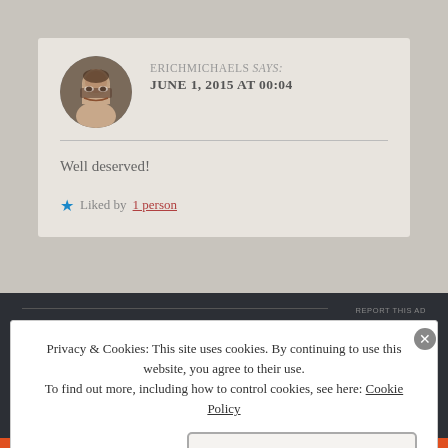ERICHMICHAELS says: JUNE 1, 2015 AT 00:04
Well deserved!
Liked by 1 person
REPORT THIS AD
Privacy & Cookies: This site uses cookies. By continuing to use this website, you agree to their use.
To find out more, including how to control cookies, see here: Cookie Policy
Close and accept